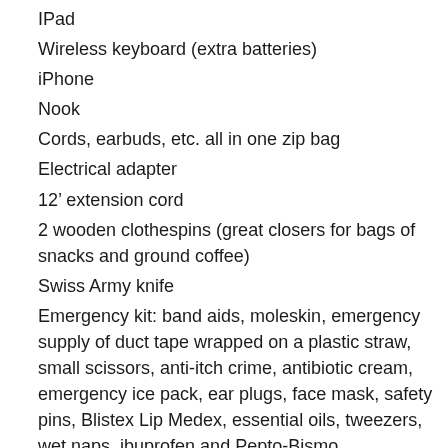IPad
Wireless keyboard (extra batteries)
iPhone
Nook
Cords, earbuds, etc. all in one zip bag
Electrical adapter
12’ extension cord
2 wooden clothespins (great closers for bags of snacks and ground coffee)
Swiss Army knife
Emergency kit: band aids, moleskin, emergency supply of duct tape wrapped on a plastic straw, small scissors, anti-itch crime, antibiotic cream, emergency ice pack, ear plugs, face mask, safety pins, Blistex Lip Medex, essential oils, tweezers, wet naps, ibuprofen and Pepto-Bismo
Combination padlock